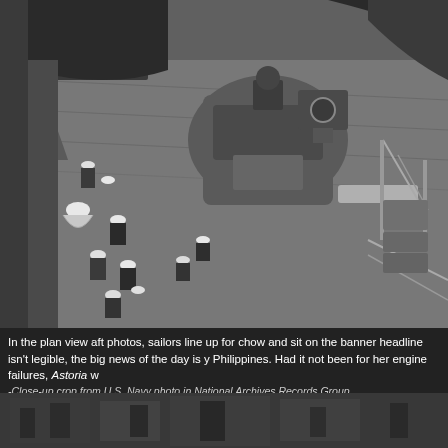[Figure (photo): Black and white aerial/plan view photo of a naval ship deck showing sailors lining up for chow, sitting on deck, with ship equipment including gun turret and railings visible.]
In the plan view aft photos, sailors line up for chow and sit on the banner headline isn't legible, the big news of the day is y Philippines. Had it not been for her engine failures, Astoria w -Close-up crop from U.S. Navy photo in National Archives Records Group .
[Figure (photo): Black and white photo partially visible at the bottom of the page.]